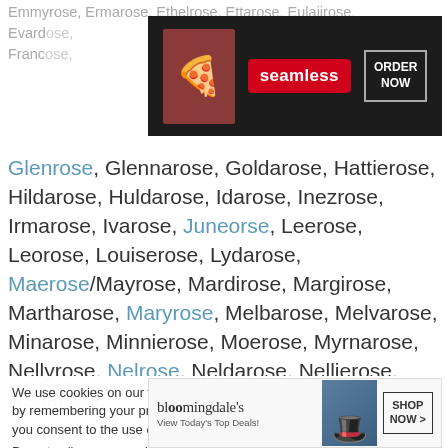Emmyrose, Ermarose, Ethelrose, Ettarose, Eulaiirose, Evardrose, ..., Francrose, ...
[Figure (screenshot): Seamless food delivery advertisement banner with pizza image, red Seamless logo button, and ORDER NOW button on dark background]
Glenrose, Glennarose, Goldarose, Hattierose, Hildarose, Huldarose, Idarose, Inezrose, Irmarose, Ivarose, Juneorse, Leerose, Leorose, Louiserose, Lydarose, Maerose/Mayrose, Mardirose, Margirose, Martharose, Maryrose, Melbarose, Melvarose, Minarose, Minnierose, Moerose, Myrnarose, Nellyrose, Nelrose, Neldarose, Nellierose, Nettarose,
We use cookies on our website to give you the most relevant experience by remembering your preferences and repeat visits. By clicking “Accept”, you consent to the use of ALL the cookies.
Do not sell my personal information.
[Figure (screenshot): Bloomingdales advertisement banner with woman in hat, View Today's Top Deals text, and SHOP NOW button]
CLOSE